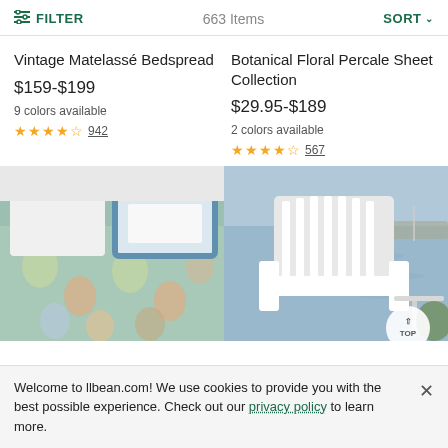FILTER   663 Items   SORT
Vintage Matelassé Bedspread
$159-$199
9 colors available
★★★★½ 942
Botanical Floral Percale Sheet Collection
$29.95-$189
2 colors available
★★★★½ 567
[Figure (photo): Vintage Matelassé Bedspread on a bed with blue-bordered floral patterned bedspread and white pillows]
[Figure (photo): White Adirondack chair on a deck overlooking water with boats, with a circular TOP button overlay]
Welcome to llbean.com! We use cookies to provide you with the best possible experience. Check out our privacy policy to learn more.